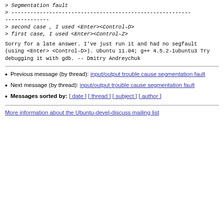> Segmentation fault
> -----------------------------------------------------------------------
> second case , I used <Enter><Control-D>
> first case, I used <Enter><Control-Z>
Sorry for a late answer.
I've just run it and had no segfault (using <Enter><Control-D>).
Ubuntu 11.04; g++ 4.5.2-1ubuntu3
Try debugging it with gdb.

--
Dmitry Andreychuk
Previous message (by thread): input/output trouble cause segmentation fault
Next message (by thread): input/output trouble cause segmentation fault
Messages sorted by: [ date ] [ thread ] [ subject ] [ author ]
More information about the Ubuntu-devel-discuss mailing list